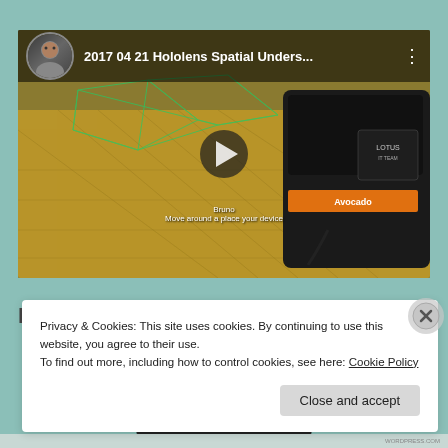[Figure (screenshot): Embedded YouTube video thumbnail showing '2017 04 21 Hololens Spatial Unders...' with a play button overlay, user avatar, and a scene of a room with AR mesh overlay and a Lotus IT Team / Avocado branded equipment bag]
Privacy & Cookies: This site uses cookies. By continuing to use this website, you agree to their use.
To find out more, including how to control cookies, see here: Cookie Policy